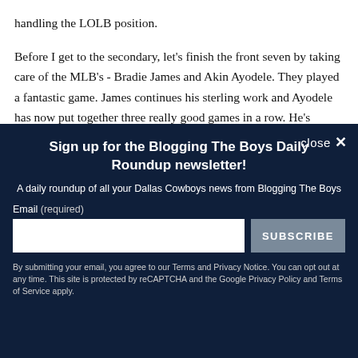handling the LOLB position.
Before I get to the secondary, let's finish the front seven by taking care of the MLB's - Bradie James and Akin Ayodele. They played a fantastic game. James continues his sterling work and Ayodele has now put together three really good games in a row. He's finally
Sign up for the Blogging The Boys Daily Roundup newsletter!
A daily roundup of all your Dallas Cowboys news from Blogging The Boys
Email (required)
SUBSCRIBE
By submitting your email, you agree to our Terms and Privacy Notice. You can opt out at any time. This site is protected by reCAPTCHA and the Google Privacy Policy and Terms of Service apply.